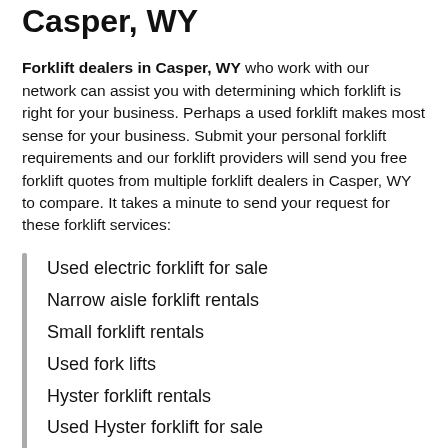Casper, WY
Forklift dealers in Casper, WY who work with our network can assist you with determining which forklift is right for your business. Perhaps a used forklift makes most sense for your business. Submit your personal forklift requirements and our forklift providers will send you free forklift quotes from multiple forklift dealers in Casper, WY to compare. It takes a minute to send your request for these forklift services:
Used electric forklift for sale
Narrow aisle forklift rentals
Small forklift rentals
Used fork lifts
Hyster forklift rentals
Used Hyster forklift for sale
Forklift sales and rentals
Toyota forklift price
New forklifts for sale